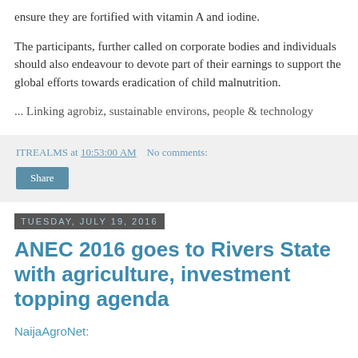ensure they are fortified with vitamin A and iodine.
The participants, further called on corporate bodies and individuals should also endeavour to devote part of their earnings to support the global efforts towards eradication of child malnutrition.
... Linking agrobiz, sustainable environs, people & technology
ITREALMS at 10:53:00 AM   No comments:
Share
Tuesday, July 19, 2016
ANEC 2016 goes to Rivers State with agriculture, investment topping agenda
NaijaAgroNet: